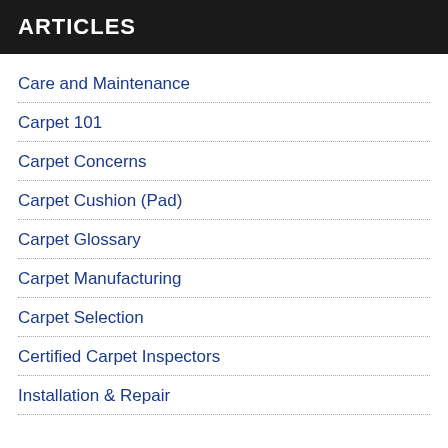ARTICLES
Care and Maintenance
Carpet 101
Carpet Concerns
Carpet Cushion (Pad)
Carpet Glossary
Carpet Manufacturing
Carpet Selection
Certified Carpet Inspectors
Installation & Repair